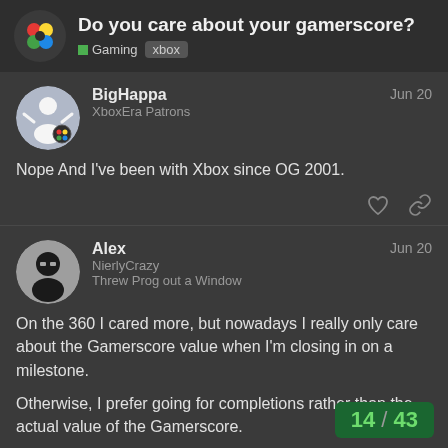Do you care about your gamerscore? | Gaming xbox
BigHappa
XboxEra Patrons
Jun 20
Nope And I've been with Xbox since OG 2001.
Alex
NierlyCrazy
Threw Prog out a Window
Jun 20
On the 360 I cared more, but nowadays I really only care about the Gamerscore value when I'm closing in on a milestone.
Otherwise, I prefer going for completions rather than the actual value of the Gamerscore.
14 / 43